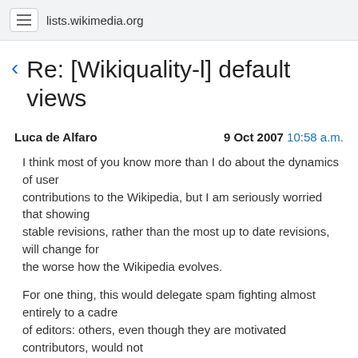lists.wikimedia.org
Re: [Wikiquality-l] default views
Luca de Alfaro    9 Oct 2007  10:58 a.m.
I think most of you know more than I do about the dynamics of user
contributions to the Wikipedia, but I am seriously worried that showing
stable revisions, rather than the most up to date revisions, will change for
the worse how the Wikipedia evolves.
For one thing, this would delegate spam fighting almost entirely to a cadre
of editors: others, even though they are motivated
contributors, would not